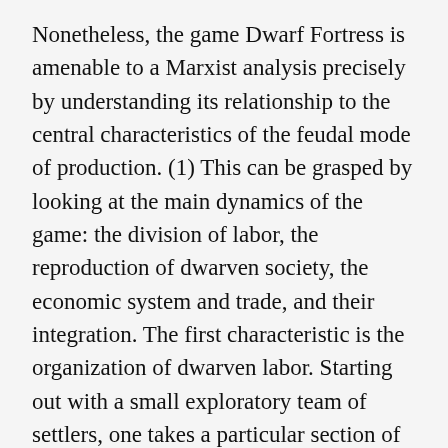Nonetheless, the game Dwarf Fortress is amenable to a Marxist analysis precisely by understanding its relationship to the central characteristics of the feudal mode of production. (1) This can be grasped by looking at the main dynamics of the game: the division of labor, the reproduction of dwarven society, the economic system and trade, and their integration. The first characteristic is the organization of dwarven labor. Starting out with a small exploratory team of settlers, one takes a particular section of the world that is more or less taken as terra nullius and makes it amenable to dwarven homesteading and regular life. This is the beginning of every game in Dwarf Fortress (assuming fortress mode), and it already gives a clear indication of the nature of social organization under feudalism. The first